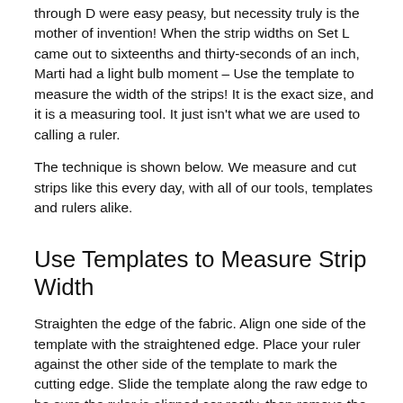through D were easy peasy, but necessity truly is the mother of invention! When the strip widths on Set L came out to sixteenths and thirty-seconds of an inch, Marti had a light bulb moment – Use the template to measure the width of the strips! It is the exact size, and it is a measuring tool. It just isn't what we are used to calling a ruler.
The technique is shown below. We measure and cut strips like this every day, with all of our tools, templates and rulers alike.
Use Templates to Measure Strip Width
Straighten the edge of the fabric. Align one side of the template with the straightened edge. Place your ruler against the other side of the template to mark the cutting edge. Slide the template along the raw edge to be sure the ruler is aligned cor rectly, then remove the template and cut the strip.
Here we're using template #1 in Set A to measure the strip width for templates #1, #2 and #4.